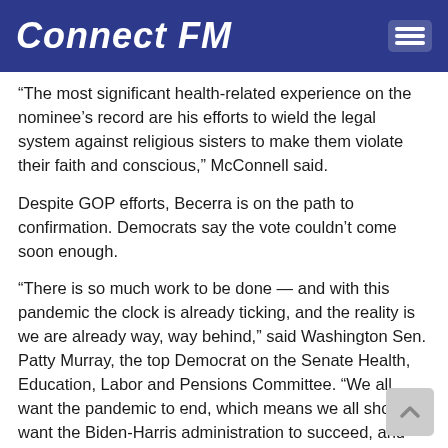Connect FM
“The most significant health-related experience on the nominee’s record are his efforts to wield the legal system against religious sisters to make them violate their faith and conscious,” McConnell said.
Despite GOP efforts, Becerra is on the path to confirmation. Democrats say the vote couldn’t come soon enough.
“There is so much work to be done — and with this pandemic the clock is already ticking, and the reality is we are already way, way behind,” said Washington Sen. Patty Murray, the top Democrat on the Senate Health, Education, Labor and Pensions Committee. “We all want the pandemic to end, which means we all should want the Biden-Harris administration to succeed, and we should be getting qualified nominees like Attorney General Becerra on the job as quickly as possible.”
Democrats refute claims that Becerra lacks experience, and cited his experience in health care policy, first as a congressman